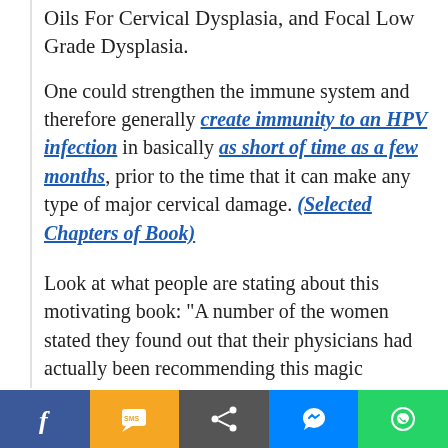Oils For Cervical Dysplasia, and Focal Low Grade Dysplasia.
One could strengthen the immune system and therefore generally create immunity to an HPV infection in basically as short of time as a few months, prior to the time that it can make any type of major cervical damage. (Selected Chapters of Book)
Look at what people are stating about this motivating book: "A number of the women stated they found out that their physicians had actually been recommending this magic
f | SMS | < | messenger | whatsapp